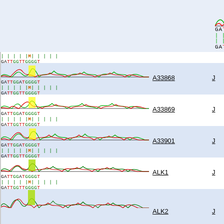[Figure (other): DNA sequencing chromatogram for A33866 showing peaks with GATTGGATGGGGT sequence alignment with M mismatch]
GATTGGATGGGGT / | | | | M | | | | | / GATTGGTTGGGGT
A33866
J
[Figure (other): DNA sequencing chromatogram for A33867]
GATTGGATGGGGT / | | | | M | | | | | / GATTGGTTGGGGT
A33867
J
[Figure (other): DNA sequencing chromatogram for A33868]
GATTGGATGGGGT / | | | | M | | | | | / GATTGGTTGGGGT
A33868
J
[Figure (other): DNA sequencing chromatogram for A33869]
GATTGGATGGGGT / | | | | M | | | | | / GATTGGTTGGGGT
A33869
J
[Figure (other): DNA sequencing chromatogram for A33901]
GATTGGATGGGGT / | | | | M | | | | | / GATTGGTTGGGGT
A33901
J
[Figure (other): DNA sequencing chromatogram for ALK1]
GATTGGATGGGGT / | | | | M | | | | | / GATTGGTTGGGGT
ALK1
J
[Figure (other): DNA sequencing chromatogram for ALK2 (partial)]
ALK2
J